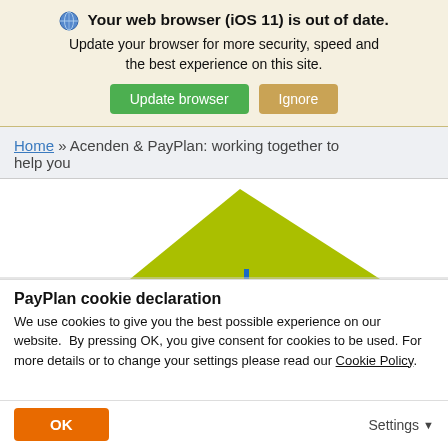🌐 Your web browser (iOS 11) is out of date. Update your browser for more security, speed and the best experience on this site.
Update browser | Ignore
Home » Acenden & PayPlan: working together to help you
[Figure (illustration): Partial view of a yellow-green triangle shape, possibly part of a logo or decorative graphic]
PayPlan cookie declaration
We use cookies to give you the best possible experience on our website. By pressing OK, you give consent for cookies to be used. For more details or to change your settings please read our Cookie Policy.
OK | Settings ▾